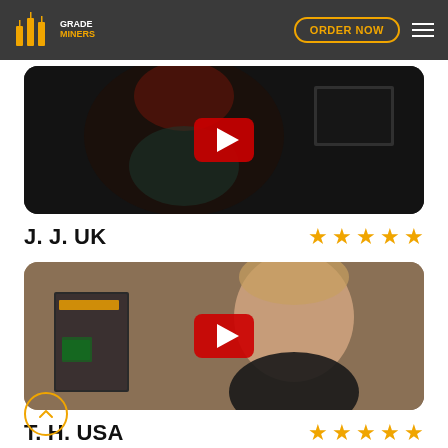GradeMiners - ORDER NOW
[Figure (photo): Video thumbnail showing a woman with red hair, partially darkened, with a YouTube play button overlay]
J. J. UK ★★★★★
[Figure (photo): Video thumbnail showing a young man in a black shirt with a magazine poster behind him, YouTube play button overlay]
T. H. USA ★★★★★